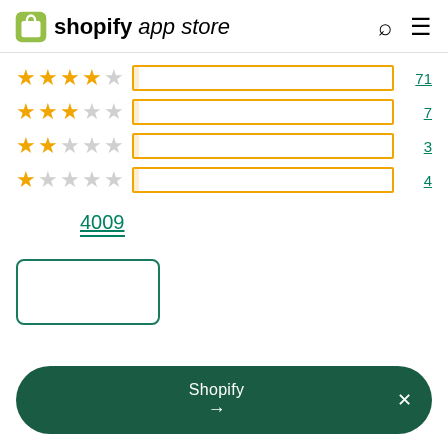shopify app store
[Figure (bar-chart): Star ratings distribution]
4009
[Figure (other): Empty write review button with teal border]
Shopify →